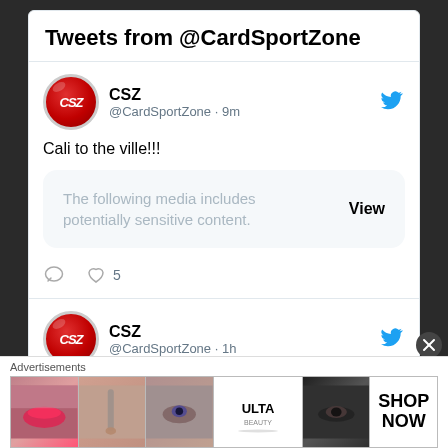Tweets from @CardSportZone
CSZ @CardSportZone · 9m
Cali to the ville!!!
The following media includes potentially sensitive content. View
❤ 5
CSZ @CardSportZone · 1h
🏈 2022 Louisville Football Guide: Quarterbacks 🏈 @kruegermania
Advertisements
[Figure (screenshot): Advertisement strip showing beauty/makeup product images and ULTA logo with SHOP NOW button]